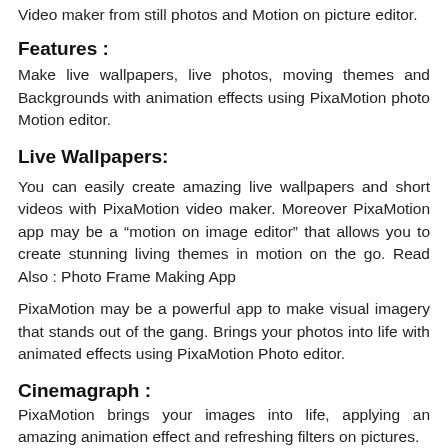Video maker from still photos and Motion on picture editor.
Features :
Make live wallpapers, live photos, moving themes and Backgrounds with animation effects using PixaMotion photo Motion editor.
Live Wallpapers:
You can easily create amazing live wallpapers and short videos with PixaMotion video maker. Moreover PixaMotion app may be a “motion on image editor” that allows you to create stunning living themes in motion on the go. Read Also : Photo Frame Making App
PixaMotion may be a powerful app to make visual imagery that stands out of the gang. Brings your photos into life with animated effects using PixaMotion Photo editor.
Cinemagraph :
PixaMotion brings your images into life, applying an amazing animation effect and refreshing filters on pictures.